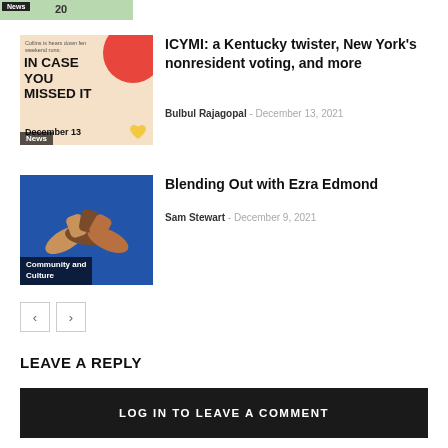[Figure (illustration): Partially cropped thumbnail of a news article with 'News' badge and partial number visible]
[Figure (illustration): Thumbnail for ICYMI article showing colorful 'In Case You Missed It December 13' graphic with red maple leaf and yellow heart on orange/cream background]
News
ICYMI: a Kentucky twister, New York's nonresident voting, and more
Bulbul Rajagopal  -  December 13, 2021
[Figure (illustration): Thumbnail for Blending Out article showing hands of different skin tones joined together on a blue background]
Community and Culture
Blending Out with Ezra Edmond
Sam Stewart  -  December 9, 2021
← →
LEAVE A REPLY
LOG IN TO LEAVE A COMMENT